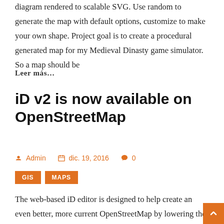diagram rendered to scalable SVG. Use random to generate the map with default options, customize to make your own shape. Project goal is to create a procedural generated map for my Medieval Dinasty game simulator. So a map should be
Leer más...
iD v2 is now available on OpenStreetMap
Admin  dic. 19, 2016  0
GIS  MAPS
The web-based iD editor is designed to help create an even better, more current OpenStreetMap by lowering the threshold of entry to mapping with a straightforward, in-browser editing experience. Head over to OpenStreetMap